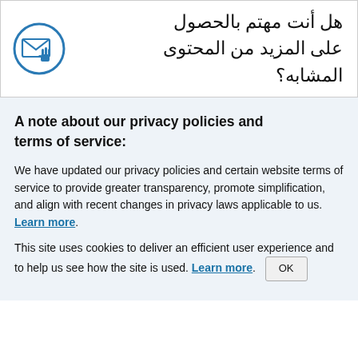[Figure (illustration): Email/newsletter icon inside a circle with a cursor hand pointer, blue outline style]
هل أنت مهتم بالحصول على المزيد من المحتوى المشابه؟
A note about our privacy policies and terms of service:
We have updated our privacy policies and certain website terms of service to provide greater transparency, promote simplification, and align with recent changes in privacy laws applicable to us. Learn more.
This site uses cookies to deliver an efficient user experience and to help us see how the site is used. Learn more.  OK